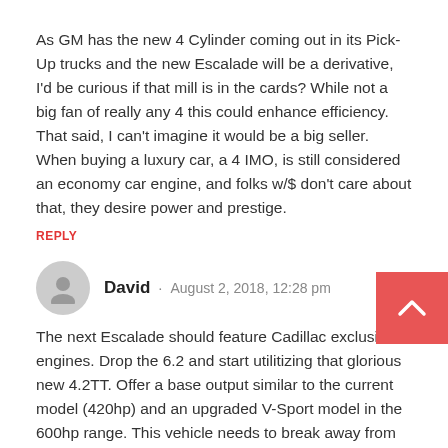As GM has the new 4 Cylinder coming out in its Pick-Up trucks and the new Escalade will be a derivative, I'd be curious if that mill is in the cards? While not a big fan of really any 4 this could enhance efficiency. That said, I can't imagine it would be a big seller. When buying a luxury car, a 4 IMO, is still considered an economy car engine, and folks w/$ don't care about that, they desire power and prestige.
REPLY
David · August 2, 2018, 12:28 pm
The next Escalade should feature Cadillac exclusive engines. Drop the 6.2 and start utilitizing that glorious new 4.2TT. Offer a base output similar to the current model (420hp) and an upgraded V-Sport model in the 600hp range. This vehicle needs to break away from Chevy and GMC.
REPLY